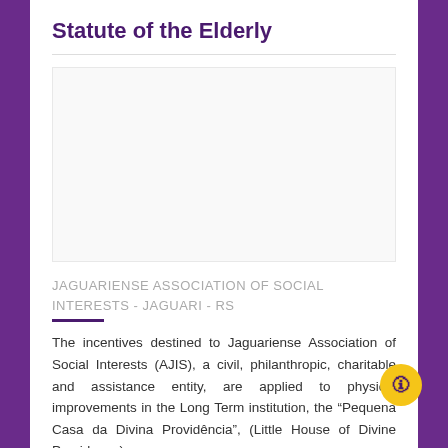Statute of the Elderly
[Figure (other): White box placeholder image area]
JAGUARIENSE ASSOCIATION OF SOCIAL INTERESTS - JAGUARI - RS
The incentives destined to Jaguariense Association of Social Interests (AJIS), a civil, philanthropic, charitable and assistance entity, are applied to physical improvements in the Long Term institution, the “Pequena Casa da Divina Providência”, (Little House of Divine Providence),